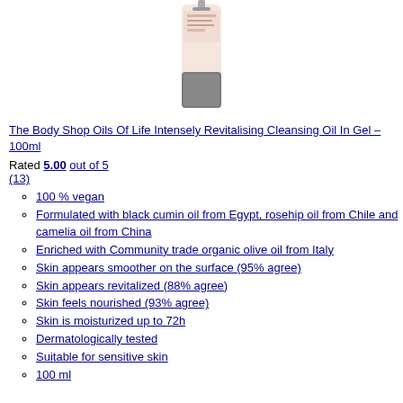[Figure (photo): Product photo of The Body Shop Oils Of Life Intensely Revitalising Cleansing Oil In Gel bottle, showing a white/cream tube with a dark grey pump cap]
The Body Shop Oils Of Life Intensely Revitalising Cleansing Oil In Gel – 100ml
Rated 5.00 out of 5 (13)
100 % vegan
Formulated with black cumin oil from Egypt, rosehip oil from Chile and camelia oil from China
Enriched with Community trade organic olive oil from Italy
Skin appears smoother on the surface (95% agree)
Skin appears revitalized (88% agree)
Skin feels nourished (93% agree)
Skin is moisturized up to 72h
Dermatologically tested
Suitable for sensitive skin
100 ml